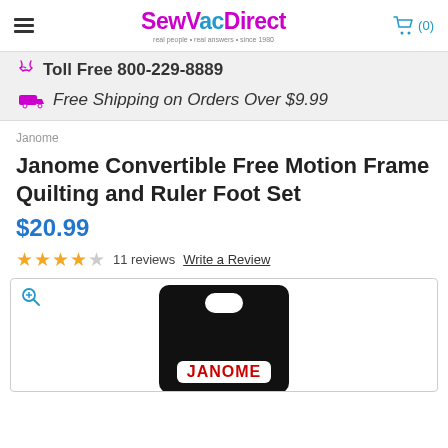SewVacDirect — real people · real answers · since 1980
Toll Free 800-229-8889
Free Shipping on Orders Over $9.99
Janome
Janome Convertible Free Motion Frame Quilting and Ruler Foot Set
$20.99
11 reviews   Write a Review
[Figure (photo): Product photo of Janome accessory on black hanging card with JANOME logo in red]